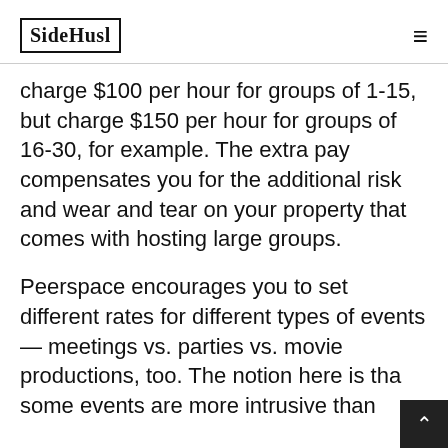SideHusl
charge $100 per hour for groups of 1-15, but charge $150 per hour for groups of 16-30, for example. The extra pay compensates you for the additional risk and wear and tear on your property that comes with hosting large groups.
Peerspace encourages you to set different rates for different types of events — meetings vs. parties vs. movie productions, too. The notion here is that some events are more intrusive than